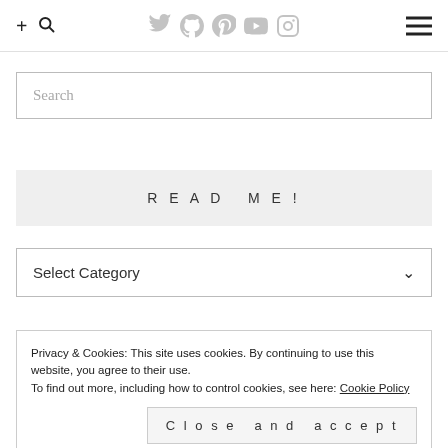+ [search icon] [social icons: Twitter, GitHub, Pinterest, YouTube, Instagram] [menu icon]
Search
READ ME!
Select Category
Privacy & Cookies: This site uses cookies. By continuing to use this website, you agree to their use.
To find out more, including how to control cookies, see here: Cookie Policy
Close and accept